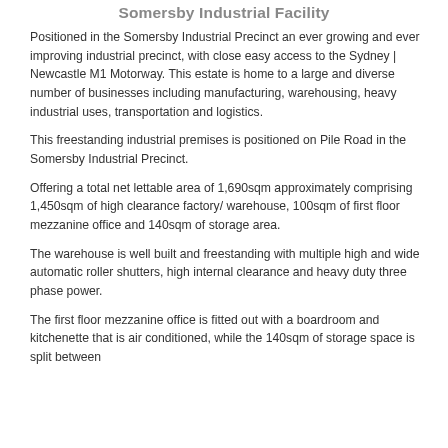Somersby Industrial Facility
Positioned in the Somersby Industrial Precinct an ever growing and ever improving industrial precinct, with close easy access to the Sydney | Newcastle M1 Motorway. This estate is home to a large and diverse number of businesses including manufacturing, warehousing, heavy industrial uses, transportation and logistics.
This freestanding industrial premises is positioned on Pile Road in the Somersby Industrial Precinct.
Offering a total net lettable area of 1,690sqm approximately comprising 1,450sqm of high clearance factory/ warehouse, 100sqm of first floor mezzanine office and 140sqm of storage area.
The warehouse is well built and freestanding with multiple high and wide automatic roller shutters, high internal clearance and heavy duty three phase power.
The first floor mezzanine office is fitted out with a boardroom and kitchenette that is air conditioned, while the 140sqm of storage space is split between